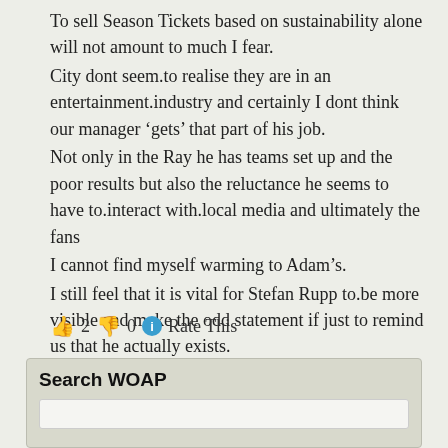To sell Season Tickets based on sustainability alone will not amount to much I fear.
City dont seem.to realise they are in an entertainment.industry and certainly I dont think our manager ‘gets’ that part of his job.
Not only in the Ray he has teams set up and the poor results but also the reluctance he seems to have to.interact with.local media and ultimately the fans
I cannot find myself warming to Adam’s.
I still feel that it is vital for Stefan Rupp to.be more visible and make the odd statement if just to remind us that he actually exists.
A shirt term, medium term.and long term.plan from him would be most welcome to.many fans.
👍 2 👎 0 ℹ Rate This
Search WOAP